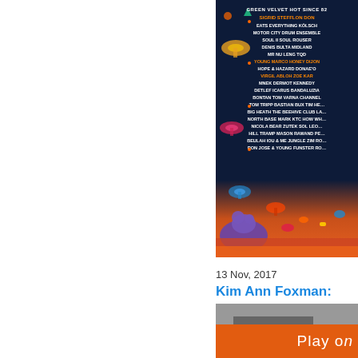[Figure (illustration): Festival poster with dark navy background showing artists names in white/orange/yellow text including GREEN VELVET, SIGRID, STEFFLON DON, EATS EVERYTHING, KÖLSCH, MOTOR CITY DRUM ENSEMBLE, SOUL II SOUL, ROUSER, DENIS SULTA, MIDLAND, MR NU LENG, TQD, YOUNG MARCO, HONEY DIJON, HOPE & HAZARD, DONAE'O, VIRGIL ABLOH, ZOE KAR, MNEK, DERMOT KENNEDY, DETLEF, ICARUS, BANDALUZIA, BONTAN, TOM VARNA, CHANNEL, TOM TRIPP, BASTIAN BUX, TIM HEALY, BIG HEATH, THE BEEHIVE CLUB, NORTH BASE, MARK KTC, HOW WE ROLL, NICOLA BEAR, ZUTEK SOL, JUNGLE ZIM, BEULAH, IOU & ME, RON JOSE & YOUNG, FUNSTER, with colorful mushroom and jellyfish illustrations and an orange/red gradient landscape at the bottom with bears and animals]
13 Nov, 2017
Kim Ann Foxman:
Kim Ann Foxman is feat…
www.be-at.tv/editorial/fea… november-2017
[Figure (screenshot): Video thumbnail with orange Play on… button overlay]